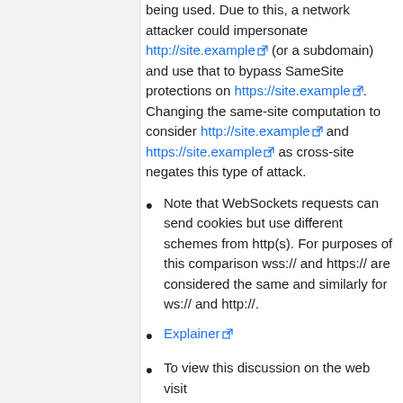being used. Due to this, a network attacker could impersonate http://site.example (or a subdomain) and use that to bypass SameSite protections on https://site.example. Changing the same-site computation to consider http://site.example and https://site.example as cross-site negates this type of attack.
Note that WebSockets requests can send cookies but use different schemes from http(s). For purposes of this comparison wss:// and https:// are considered the same and similarly for ws:// and http://.
Explainer
To view this discussion on the web visit https://groups.google.com/a/chromium.org/d/msgid/blink-dev/72a2df2a-